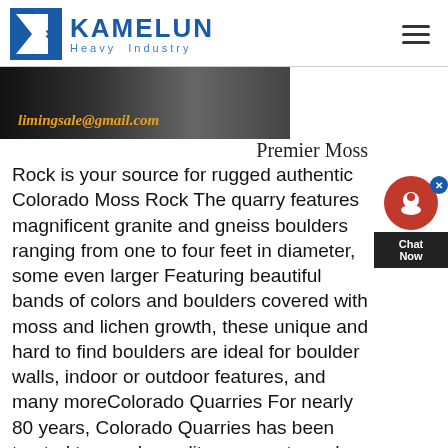[Figure (logo): Kamelun Heavy Industry logo with blue K graphic and text]
[Figure (photo): Dark banner image with email address limingsale@gmail.com in orange italic text]
Premier Moss Rock is your source for rugged authentic Colorado Moss Rock The quarry features magnificent granite and gneiss boulders ranging from one to four feet in diameter, some even larger Featuring beautiful bands of colors and boulders covered with moss and lichen growth, these unique and hard to find boulders are ideal for boulder walls, indoor or outdoor features, and many moreColorado Quarries For nearly 80 years, Colorado Quarries has been trusted to supply quality aggregate and rock throughout North America and Canada We take pride in our reputation for providing a wide variety of hard aggregate, expert sizing and timely, courteous service High Quality Materials Satisfaction Guaranteed Competitive Prices Home